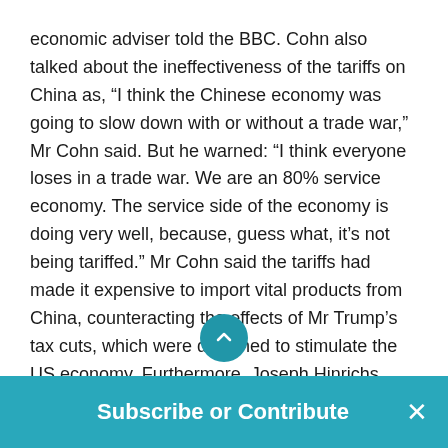economic adviser told the BBC. Cohn also talked about the ineffectiveness of the tariffs on China as, “I think the Chinese economy was going to slow down with or without a trade war,” Mr Cohn said. But he warned: “I think everyone loses in a trade war. We are an 80% service economy. The service side of the economy is doing very well, because, guess what, it’s not being tariffed.” Mr Cohn said the tariffs had made it expensive to import vital products from China, counteracting the effects of Mr Trump’s tax cuts, which were designed to stimulate the US economy. Furthermore, Joseph Hinrichs, president of automotive at US carmaker Ford, said, “Last year, there was a significant impact on our business because of steel and aluminium tariffs”. It’s
Subscribe or Contribute